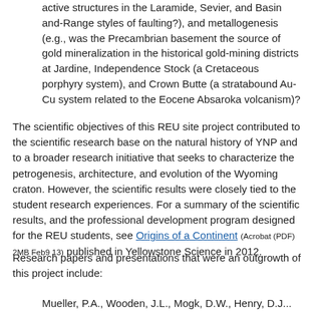active structures in the Laramide, Sevier, and Basin and-Range styles of faulting?), and metallogenesis (e.g., was the Precambrian basement the source of gold mineralization in the historical gold-mining districts at Jardine, Independence Stock (a Cretaceous porphyry system), and Crown Butte (a stratabound Au-Cu system related to the Eocene Absaroka volcanism)?
The scientific objectives of this REU site project contributed to the scientific research base on the natural history of YNP and to a broader research initiative that seeks to characterize the petrogenesis, architecture, and evolution of the Wyoming craton. However, the scientific results were closely tied to the student research experiences. For a summary of the scientific results, and the professional development program designed for the REU students, see Origins of a Continent (Acrobat (PDF) 2MB Feb9 13) published in Yellowstone Science in 2012.
Research papers and presentations that were an outgrowth of this project include:
Mueller, P.A., Wooden, J.L., Mogk, D.W., Henry, D.J...